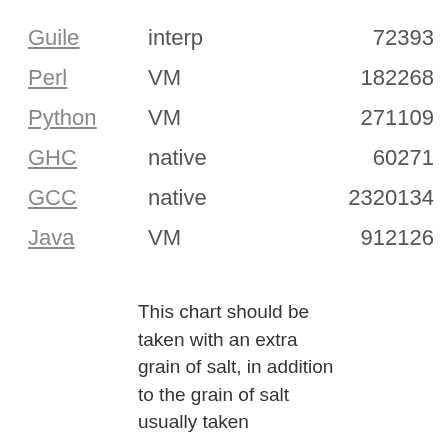| Language | Type | Value |
| --- | --- | --- |
| Guile | interp | 72393 |
| Perl | VM | 182268 |
| Python | VM | 271109 |
| GHC | native | 60271 |
| GCC | native | 2320134 |
| Java | VM | 912126 |
This chart should be taken with an extra grain of salt, in addition to the grain of salt usually taken